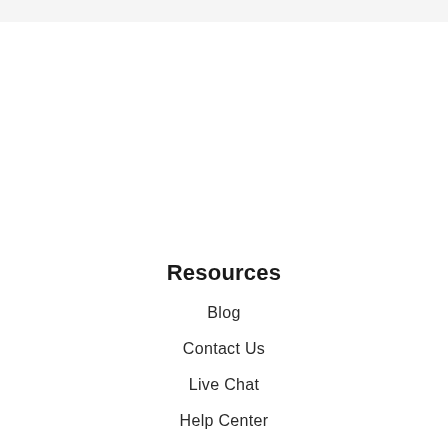Resources
Blog
Contact Us
Live Chat
Help Center